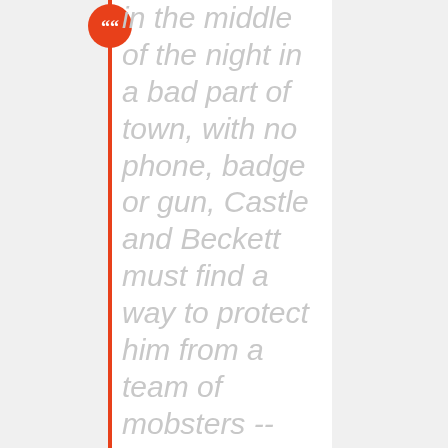in the middle of the night in a bad part of town, with no phone, badge or gun, Castle and Beckett must find a way to protect him from a team of mobsters -- that is, if they